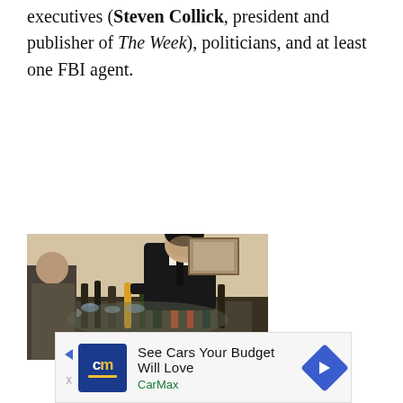executives (Steven Collick, president and publisher of The Week), politicians, and at least one FBI agent.
[Figure (photo): A man in a dark suit and black tie leaning over a table covered with bottles and glassware at what appears to be a party or reception. Another person is partially visible in the background on the left.]
[Figure (screenshot): Advertisement banner for CarMax: 'See Cars Your Budget Will Love' with CarMax logo (cm in blue background with yellow underline) and a blue diamond-shaped arrow icon on the right.]